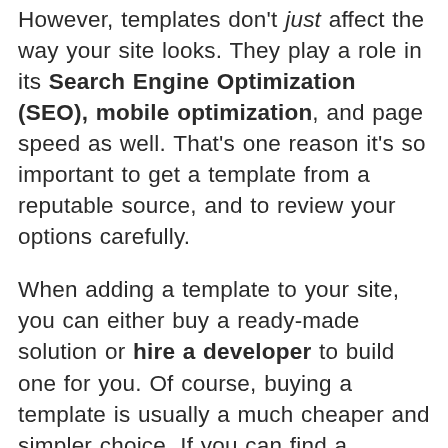However, templates don't just affect the way your site looks. They play a role in its Search Engine Optimization (SEO), mobile optimization, and page speed as well. That's one reason it's so important to get a template from a reputable source, and to review your options carefully.
When adding a template to your site, you can either buy a ready-made solution or hire a developer to build one for you. Of course, buying a template is usually a much cheaper and simpler choice. If you can find a template that's close enough to what you want, you can even hire a developer to tweak it, for a lot less than it would cost to build one from scratch.